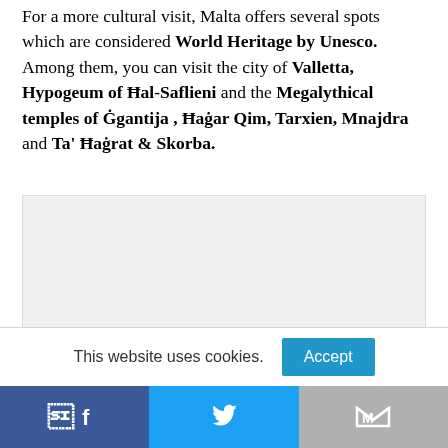For a more cultural visit, Malta offers several spots which are considered World Heritage by Unesco. Among them, you can visit the city of Valletta, Hypogeum of Ħal-Saflieni and the Megalythical temples of Ġgantija , Ħaġar Qim, Tarxien, Mnajdra and Ta' Ħaġrat & Skorba.
[Figure (photo): Image placeholder area with light gray background]
This website uses cookies.
Accept
[Figure (other): Social sharing bar with Facebook, Twitter, and Gmail icons]